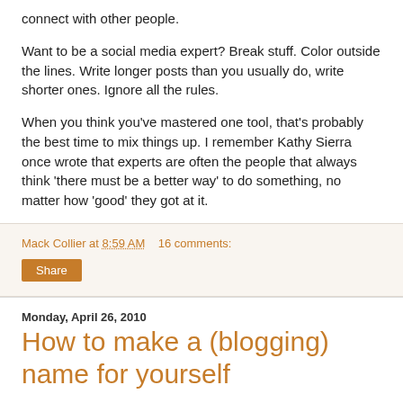connect with other people.
Want to be a social media expert? Break stuff. Color outside the lines. Write longer posts than you usually do, write shorter ones. Ignore all the rules.
When you think you've mastered one tool, that's probably the best time to mix things up. I remember Kathy Sierra once wrote that experts are often the people that always think 'there must be a better way' to do something, no matter how 'good' they got at it.
Mack Collier at 8:59 AM   16 comments:
Share
Monday, April 26, 2010
How to make a (blogging) name for yourself